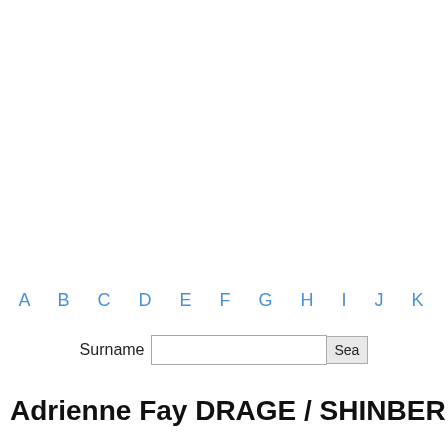A B C D E F G H I J K
Surname  Sear
Adrienne Fay DRAGE / SHINBER